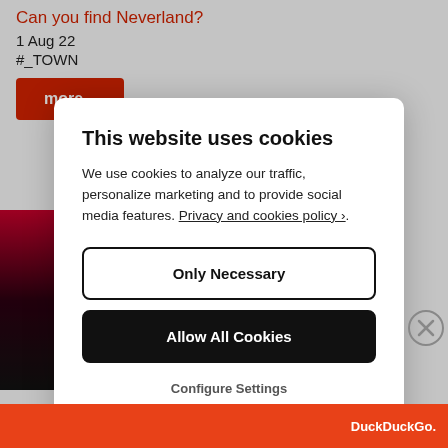Can you find Neverland?
1 Aug 22
#_TOWN
more...
This website uses cookies
We use cookies to analyze our traffic, personalize marketing and to provide social media features. Privacy and cookies policy ›.
Only Necessary
Allow All Cookies
Configure Settings ›
DuckDuckGo.